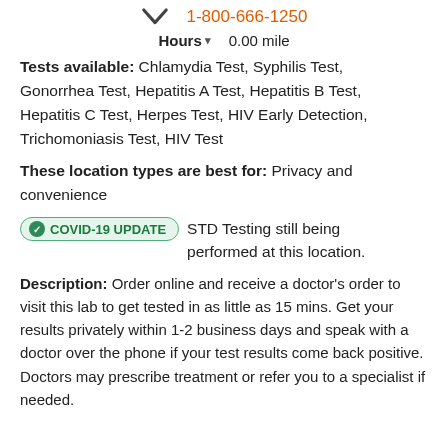[Figure (illustration): Chevron/down arrow icon on the left side of the top bar]
1-800-666-1250
Hours  0.00 mile
Tests available: Chlamydia Test, Syphilis Test, Gonorrhea Test, Hepatitis A Test, Hepatitis B Test, Hepatitis C Test, Herpes Test, HIV Early Detection, Trichomoniasis Test, HIV Test
These location types are best for: Privacy and convenience
COVID-19 UPDATE  STD Testing still being performed at this location.
Description: Order online and receive a doctor's order to visit this lab to get tested in as little as 15 mins. Get your results privately within 1-2 business days and speak with a doctor over the phone if your test results come back positive. Doctors may prescribe treatment or refer you to a specialist if needed.